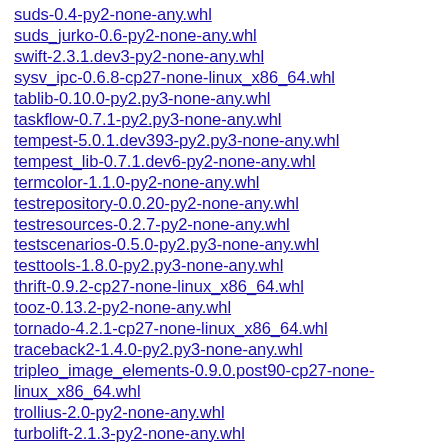suds-0.4-py2-none-any.whl
suds_jurko-0.6-py2-none-any.whl
swift-2.3.1.dev3-py2-none-any.whl
sysv_ipc-0.6.8-cp27-none-linux_x86_64.whl
tablib-0.10.0-py2.py3-none-any.whl
taskflow-0.7.1-py2.py3-none-any.whl
tempest-5.0.1.dev393-py2.py3-none-any.whl
tempest_lib-0.7.1.dev6-py2-none-any.whl
termcolor-1.1.0-py2-none-any.whl
testrepository-0.0.20-py2-none-any.whl
testresources-0.2.7-py2-none-any.whl
testscenarios-0.5.0-py2.py3-none-any.whl
testtools-1.8.0-py2.py3-none-any.whl
thrift-0.9.2-cp27-none-linux_x86_64.whl
tooz-0.13.2-py2-none-any.whl
tornado-4.2.1-cp27-none-linux_x86_64.whl
traceback2-1.4.0-py2.py3-none-any.whl
tripleo_image_elements-0.9.0.post90-cp27-none-linux_x86_64.whl
trollius-2.0-py2-none-any.whl
turbolift-2.1.3-py2-none-any.whl
txaio-1.0.3-py2-none-any.whl
unittest2-1.1.0-py2.py3-none-any.whl
urllib3-1.10.4-py2-none-any.whl
virtualenv-13.1.2-py2.py3-none-any.whl